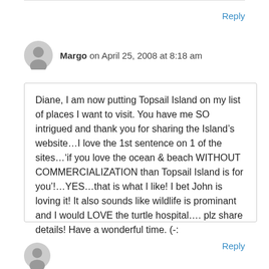Reply
Margo on April 25, 2008 at 8:18 am
Diane, I am now putting Topsail Island on my list of places I want to visit. You have me SO intrigued and thank you for sharing the Island’s website…I love the 1st sentence on 1 of the sites…‘if you love the ocean & beach WITHOUT COMMERCIALIZATION than Topsail Island is for you’!…YES…that is what I like! I bet John is loving it! It also sounds like wildlife is prominant and I would LOVE the turtle hospital…. plz share details! Have a wonderful time. (-:
Reply